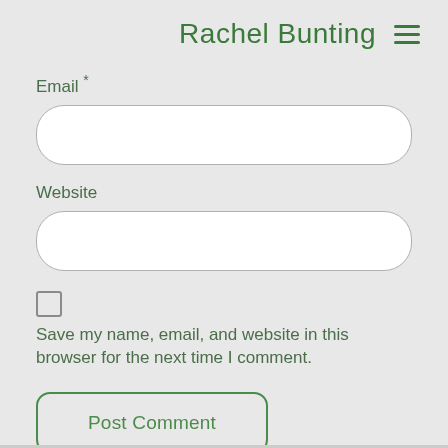Rachel Bunting ☰
Email *
[Figure (other): Empty email input field with rounded corners]
Website
[Figure (other): Empty website input field with rounded corners]
Save my name, email, and website in this browser for the next time I comment.
Post Comment